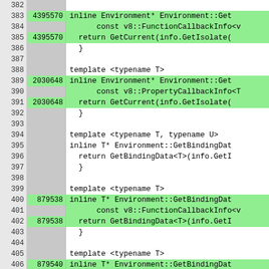[Figure (screenshot): Code coverage viewer showing C++ source lines 382-408 with line numbers, hit counts, and source code. Green highlighted rows indicate covered lines with hit counts (4395570, 2030648, 879538, 879540). Gray rows indicate uncovered/non-executable lines. Code shows inline Environment methods including GetCurrent and GetBindingData template functions.]